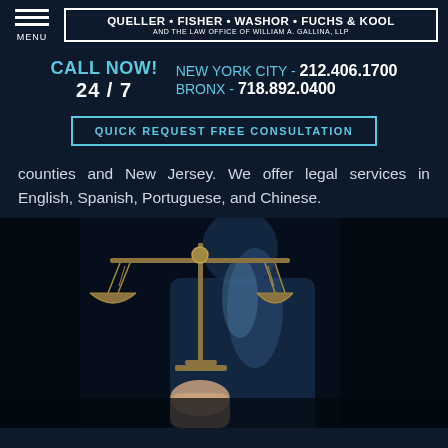MENU | QUELLER • FISHER • WASHOR • FUCHS & KOOL AND THE LAW OFFICE OF WILLIAM A. GALLINA, LLP
CALL NOW! NEW YORK CITY - 212.406.1700  24 / 7  BRONX - 718.892.0400
QUICK REQUEST FREE CONSULTATION
counties and New Jersey. We offer legal services in English, Spanish, Portuguese, and Chinese.
[Figure (photo): A person in a dark suit holding brass scales of justice, photographed against a dark background with blue lighting tones.]